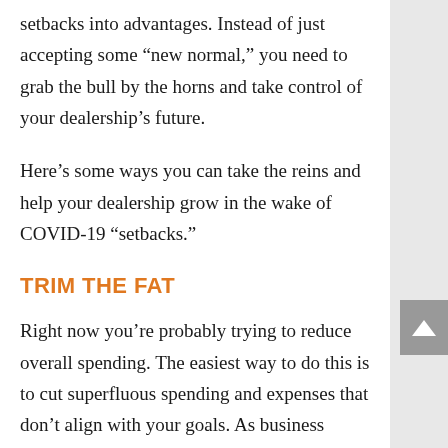setbacks into advantages. Instead of just accepting some “new normal,” you need to grab the bull by the horns and take control of your dealership’s future.
Here’s some ways you can take the reins and help your dealership grow in the wake of COVID-19 “setbacks.”
TRIM THE FAT
Right now you’re probably trying to reduce overall spending. The easiest way to do this is to cut superfluous spending and expenses that don’t align with your goals. As business owners ourselves, we know that payroll is a large portion of